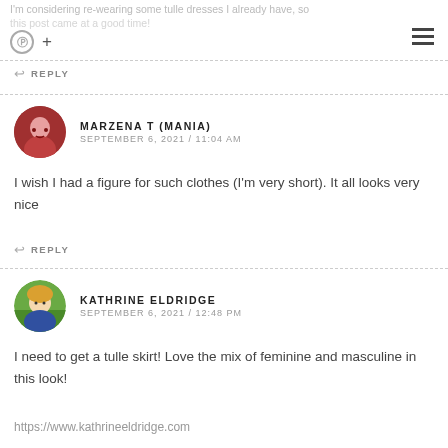I'm considering re-wearing some tulle dresses I already have, so this post came at a good time!
↩ REPLY
MARZENA T (MANIA)
SEPTEMBER 6, 2021 / 11:04 AM
I wish I had a figure for such clothes (I'm very short). It all looks very nice
↩ REPLY
KATHRINE ELDRIDGE
SEPTEMBER 6, 2021 / 12:48 PM
I need to get a tulle skirt! Love the mix of feminine and masculine in this look!
https://www.kathrineeldridge.com